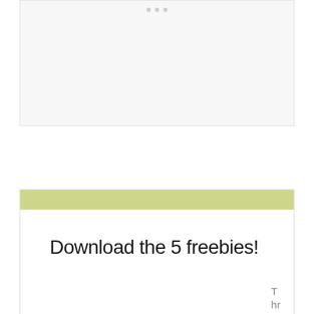[Figure (screenshot): A light gray placeholder box with three small gray dots at the top center, representing a UI widget or image placeholder.]
Download the 5 freebies!
Thrift Di